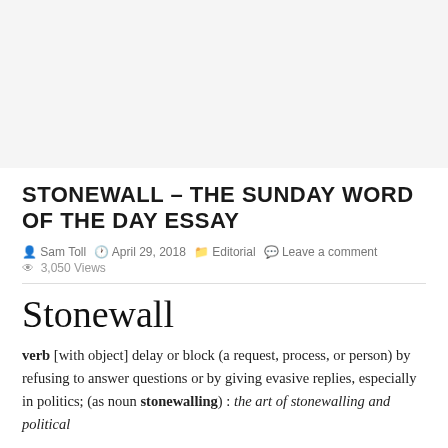[Figure (other): Advertisement placeholder area at top of page]
STONEWALL – THE SUNDAY WORD OF THE DAY ESSAY
Sam Toll   April 29, 2018   Editorial   Leave a comment   3,050 Views
Stonewall
verb [with object] delay or block (a request, process, or person) by refusing to answer questions or by giving evasive replies, especially in politics; (as noun stonewalling) : the art of stonewalling and political